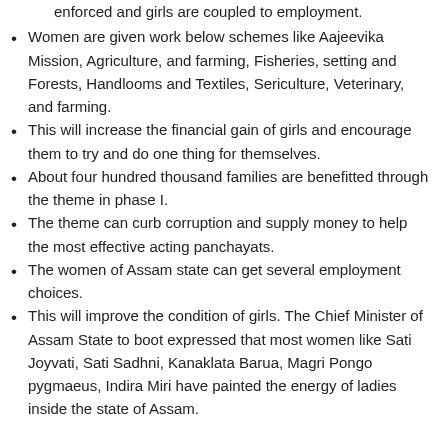enforced and girls are coupled to employment.
Women are given work below schemes like Aajeevika Mission, Agriculture, and farming, Fisheries, setting and Forests, Handlooms and Textiles, Sericulture, Veterinary, and farming.
This will increase the financial gain of girls and encourage them to try and do one thing for themselves.
About four hundred thousand families are benefitted through the theme in phase I.
The theme can curb corruption and supply money to help the most effective acting panchayats.
The women of Assam state can get several employment choices.
This will improve the condition of girls. The Chief Minister of Assam State to boot expressed that most women like Sati Joyvati, Sati Sadhni, Kanaklata Barua, Magri Pongo pygmaeus, Indira Miri have painted the energy of ladies inside the state of Assam.